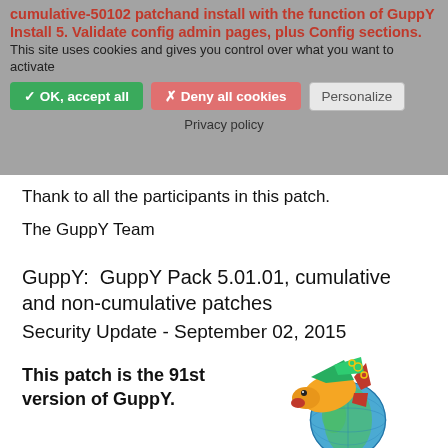cumulative-50102 patchand install with the function of GuppY Install 5. Validate config admin pages, plus Config sections.
This site uses cookies and gives you control over what you want to activate
✓ OK, accept all   ✗ Deny all cookies   Personalize
Privacy policy
Thank to all the participants in this patch.
The GuppY Team
GuppY:  GuppY Pack 5.01.01, cumulative and non-cumulative patches
Security Update - September 02, 2015
This patch is the 91st version of GuppY.
[Figure (logo): GuppY fish logo with colorful fish and globe graphic and 'GuppY' text in blue]
We offer the GuppY 5.01.01 with improvements regarding the correction of error handling. Many thanks to dipisoft for his reporting.